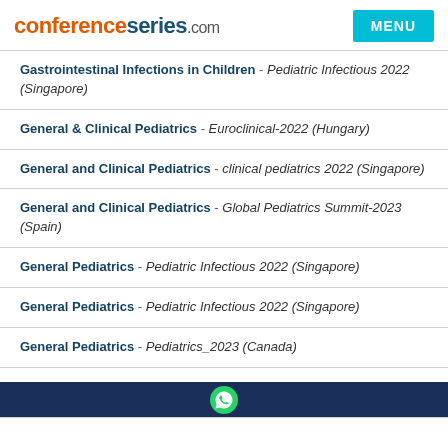conferenceseries.com | MENU
Gastrointestinal Infections in Children - Pediatric Infectious 2022 (Singapore)
General & Clinical Pediatrics - Euroclinical-2022 (Hungary)
General and Clinical Pediatrics - clinical pediatrics 2022 (Singapore)
General and Clinical Pediatrics - Global Pediatrics Summit-2023 (Spain)
General Pediatrics - Pediatric Infectious 2022 (Singapore)
General Pediatrics - Pediatric Infectious 2022 (Singapore)
General Pediatrics - Pediatrics_2023 (Canada)